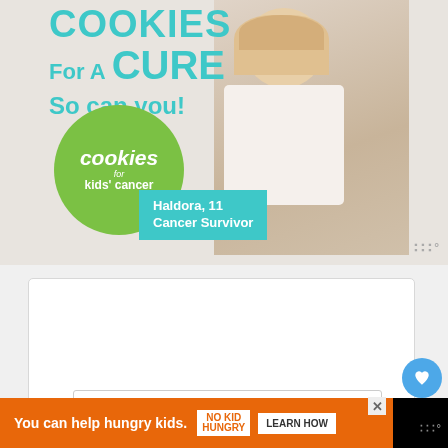[Figure (illustration): Cookies for Kids Cancer advertisement banner featuring a young blonde girl holding a plate of cookies, with text 'COOKIES For A CURE So can you!' and green circle logo for Cookies for Kids Cancer. Teal badge reads 'Haldora, 11 Cancer Survivor'.]
Subscribe to DIY All Day!
Get updates on the latest posts and more from DIY All Day straight to your inbox.
Your Email...
[Figure (screenshot): Bottom orange advertisement banner: 'You can help hungry kids.' with No Kid Hungry logo and 'LEARN HOW' button. Close X button visible.]